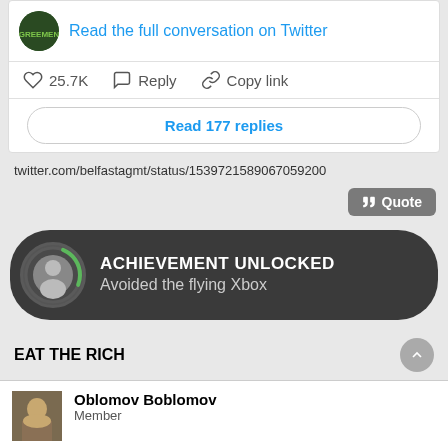[Figure (screenshot): Twitter/forum embed showing: Read the full conversation on Twitter link with Greemen avatar, heart 25.7K, Reply, Copy link actions, Read 177 replies button]
twitter.com/belfastagmt/status/1539721589067059200
Quote
[Figure (infographic): Achievement Unlocked banner: dark pill-shaped bar with user avatar icon, text ACHIEVEMENT UNLOCKED / Avoided the flying Xbox]
EAT THE RICH
Oblomov Boblomov
Member
Re: Politics Thread 6